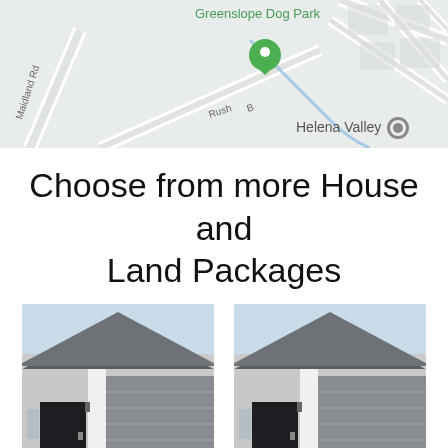[Figure (map): Google Maps screenshot showing Greenslope Dog Park with green pin marker, Helena Valley label, streets including Rush B and Maidland Rd visible]
Choose from more House and Land Packages
[Figure (photo): House and Land package promotional image showing modern home exterior with dark garage door, white pillar, front door, with brand overlay text 'timate Living Best Value! Built Right!' and 'High quality design...' bar at bottom]
[Figure (photo): House and Land package promotional image showing modern home exterior with dark garage door, white pillar, front door, with brand overlay text 'timate Living Best Value! Built Right!' and 'High quality design...' bar at bottom (duplicate)]